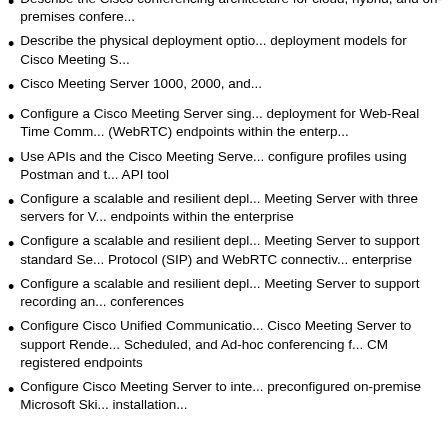Describe the Cisco conferencing architecture for cloud, hybrid, and on-premises confere...
Describe the physical deployment options and deployment models for Cisco Meeting S...
Cisco Meeting Server 1000, 2000, and...
Configure a Cisco Meeting Server single deployment for Web-Real Time Comm... (WebRTC) endpoints within the enterp...
Use APIs and the Cisco Meeting Serve... configure profiles using Postman and t... API tool
Configure a scalable and resilient depl... Meeting Server with three servers for V... endpoints within the enterprise
Configure a scalable and resilient depl... Meeting Server to support standard Se... Protocol (SIP) and WebRTC connectiv... enterprise
Configure a scalable and resilient depl... Meeting Server to support recording an... conferences
Configure Cisco Unified Communicatio... Cisco Meeting Server to support Rende... Scheduled, and Ad-hoc conferencing f... CM registered endpoints
Configure Cisco Meeting Server to inte... preconfigured on-premise Microsoft Sk... installation...